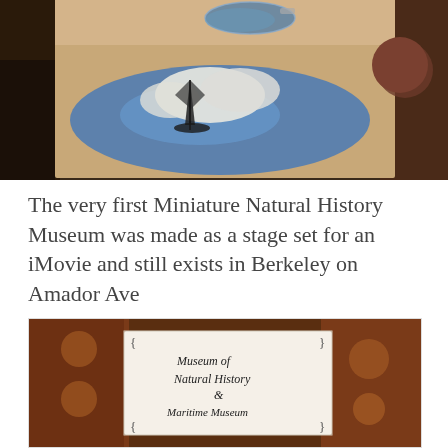[Figure (photo): Photo of a wooden box/cube with nautical sailing ship artwork painted on it, with a ship-in-a-bottle on top, set against a colorful cluttered background.]
The very first Miniature Natural History Museum was made as a stage set for an iMovie and still exists in Berkeley on Amador Ave
[Figure (photo): Photo of a handwritten sign reading 'Museum of Natural History & Maritime Museum' mounted on an ornate patterned background.]